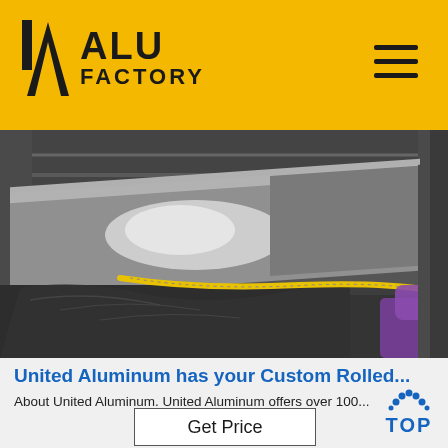ALU FACTORY
[Figure (photo): Worker measuring a large aluminum sheet with a yellow tape measure in a factory setting. The sheet appears metallic and reflective.]
United Aluminum has your Custom Rolled...
About United Aluminum. United Aluminum offers over 100...
[Figure (other): TOP badge/button with blue dots forming a circular arc above the word TOP in blue letters]